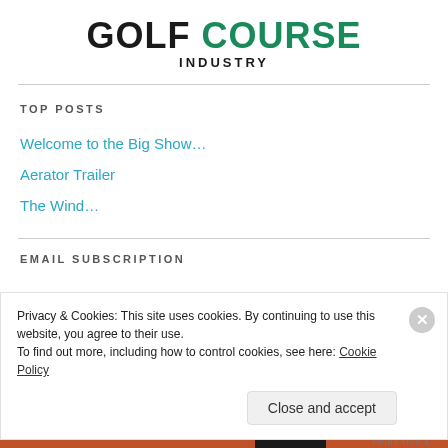GOLF COURSE INDUSTRY
TOP POSTS
Welcome to the Big Show…
Aerator Trailer
The Wind…
EMAIL SUBSCRIPTION
Privacy & Cookies: This site uses cookies. By continuing to use this website, you agree to their use. To find out more, including how to control cookies, see here: Cookie Policy
Close and accept